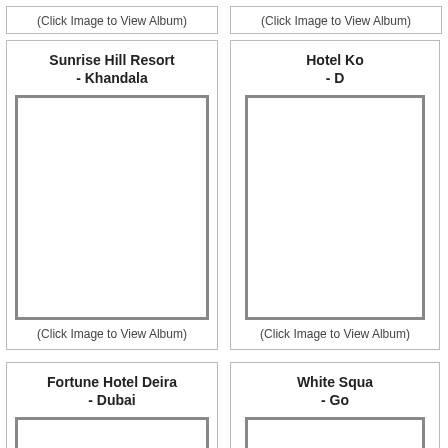(Click Image to View Album)
(Click Image to View Album)
Sunrise Hill Resort - Khandala
[Figure (photo): Placeholder image box for Sunrise Hill Resort - Khandala hotel photo album]
(Click Image to View Album)
Hotel Ko - D
[Figure (photo): Placeholder image box for Hotel Ko - D hotel photo album]
(Click Image to View Album)
Fortune Hotel Deira - Dubai
[Figure (photo): Placeholder image box for Fortune Hotel Deira - Dubai hotel photo album]
White Squa - Go
[Figure (photo): Placeholder image box for White Squa - Go hotel photo album]